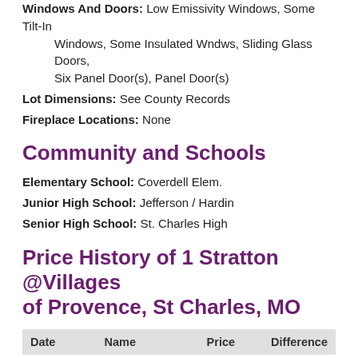Windows And Doors: Low Emissivity Windows, Some Tilt-In Windows, Some Insulated Wndws, Sliding Glass Doors, Six Panel Door(s), Panel Door(s)
Lot Dimensions: See County Records
Fireplace Locations: None
Community and Schools
Elementary School: Coverdell Elem.
Junior High School: Jefferson / Hardin
Senior High School: St. Charles High
Price History of 1 Stratton @Villages of Provence, St Charles, MO
| Date | Name | Price | Difference |
| --- | --- | --- | --- |
| 05/12/2022 | Price Adjustment | $410,900 | 1.48% |
| 03/09/2022 | Price Adjustment | $404,900 | 2.27% |